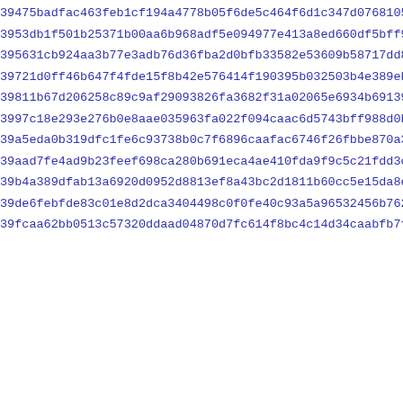39475badfac463feb1cf194a4778b05f6de5c464f6d1c347d076810580719
3953db1f501b25371b00aa6b968adf5e094977e413a8ed660df5bff9308ec
395631cb924aa3b77e3adb76d36fba2d0bfb33582e53609b58717dd8e0ccc
39721d0ff46b647f4fde15f8b42e576414f190395b032503b4e389eb1e5bc
39811b67d206258c89c9af29093826fa3682f31a02065e6934b69139af262
3997c18e293e276b0e8aae035963fa022f094caac6d5743bff988d0b2e001
39a5eda0b319dfc1fe6c93738b0c7f6896caafac6746f26fbbe870a3c6fc6
39aad7fe4ad9b23feef698ca280b691eca4ae410fda9f9c5c21fdd3ca51bb
39b4a389dfab13a6920d0952d8813ef8a43bc2d1811b60cc5e15da8ee3f13
39de6febfde83c01e8d2dca3404498c0f0fe40c93a5a96532456b762dcc50
39fcaa62bb0513c57320ddaad04870d7fc614f8bc4c14d34caabfb7f4ea8e